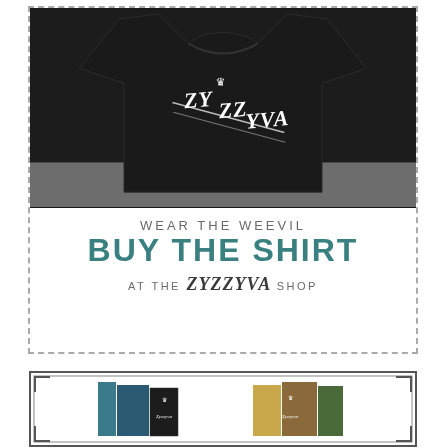[Figure (photo): Black t-shirt with ZYZZYVA logo printed on it, laid flat on a white surface. The shirt shows the word ZYZZYVA in stylized lettering with a small crown/weevil graphic above it.]
WEAR THE WEEVIL
BUY THE SHIRT
AT THE ZYZZYVA SHOP
[Figure (photo): Two sets of ZYZZYVA book box sets shown: one teal/blue colored set on the left and one green/brown colored set on the right, displayed within a decorative bordered frame.]